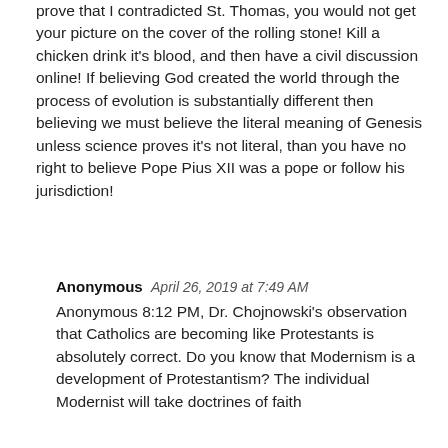prove that I contradicted St. Thomas, you would not get your picture on the cover of the rolling stone! Kill a chicken drink it's blood, and then have a civil discussion online! If believing God created the world through the process of evolution is substantially different then believing we must believe the literal meaning of Genesis unless science proves it's not literal, than you have no right to believe Pope Pius XII was a pope or follow his jurisdiction!
Anonymous  April 26, 2019 at 7:49 AM
Anonymous 8:12 PM, Dr. Chojnowski's observation that Catholics are becoming like Protestants is absolutely correct. Do you know that Modernism is a development of Protestantism? The individual Modernist will take doctrines of faith